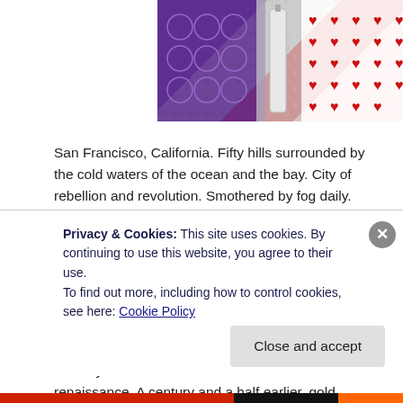[Figure (photo): Partial photo of colorful lab/craft supplies — purple tray with circular wells, red berries or dots on white background]
San Francisco, California. Fifty hills surrounded by the cold waters of the ocean and the bay. City of rebellion and revolution. Smothered by fog daily.
This is the place where Jacob Gavel grew up, the place he ran away from at twenty, and the place he never thought he'd come back to.
The city's in the middle of its second financial renaissance. A century and a half earlier, gold nuggets. In the year 2000, silicon microchips. The dot-com boom created hundreds of new companies, swollen with
Privacy & Cookies: This site uses cookies. By continuing to use this website, you agree to their use.
To find out more, including how to control cookies, see here: Cookie Policy
Close and accept